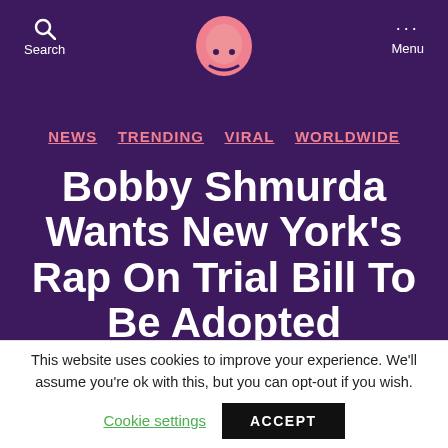Search  [Logo]  Menu
NEWS  TRENDING  VIRAL  WORLDWIDE
Bobby Shmurda Wants New York's Rap On Trial Bill To Be Adopted Throughout The United States
This website uses cookies to improve your experience. We'll assume you're ok with this, but you can opt-out if you wish.
Cookie settings  ACCEPT